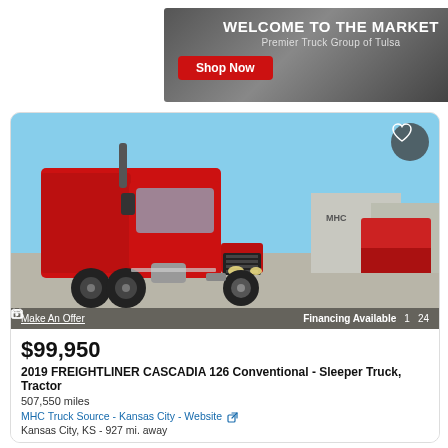[Figure (photo): Banner advertisement for Premier Truck Group of Tulsa with 'WELCOME TO THE MARKET' heading and red 'Shop Now' button]
[Figure (photo): Red 2019 Freightliner Cascadia 126 sleeper truck, front three-quarter view in a parking lot with blue sky]
Make An Offer
Financing Available  1  24
$99,950
2019 FREIGHTLINER CASCADIA 126 Conventional - Sleeper Truck, Tractor
507,550 miles
MHC Truck Source - Kansas City - Website
Kansas City, KS - 927 mi. away